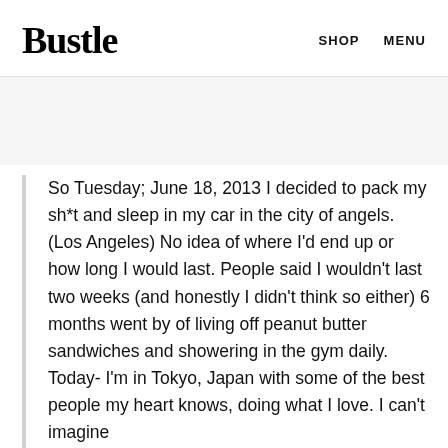Bustle   SHOP   MENU
So Tuesday; June 18, 2013 I decided to pack my sh*t and sleep in my car in the city of angels. (Los Angeles) No idea of where I'd end up or how long I would last. People said I wouldn't last two weeks (and honestly I didn't think so either) 6 months went by of living off peanut butter sandwiches and showering in the gym daily. Today- I'm in Tokyo, Japan with some of the best people my heart knows, doing what I love. I can't imagine